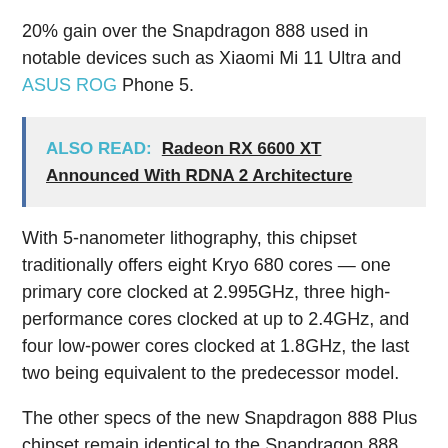20% gain over the Snapdragon 888 used in notable devices such as Xiaomi Mi 11 Ultra and ASUS ROG Phone 5.
ALSO READ: Radeon RX 6600 XT Announced With RDNA 2 Architecture
With 5-nanometer lithography, this chipset traditionally offers eight Kryo 680 cores — one primary core clocked at 2.995GHz, three high-performance cores clocked at up to 2.4GHz, and four low-power cores clocked at 1.8GHz, the last two being equivalent to the predecessor model.
The other specs of the new Snapdragon 888 Plus chipset remain identical to the Snapdragon 888. According to the manufacturer, this hardware should equip high-end smartphones in the third quarter of 2021. Partners such as